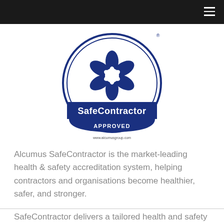[Figure (logo): Alcumus SafeContractor Approved circular logo with dark blue color and flower/star design in the center]
Alcumus SafeContractor is the market-leading health & safety accreditation system, helping contractors and organisations become healthier, safer, and stronger.
SafeContractor delivers a tailored health and safety accreditation allowing contractors to showcase their capabilities to potential customers.